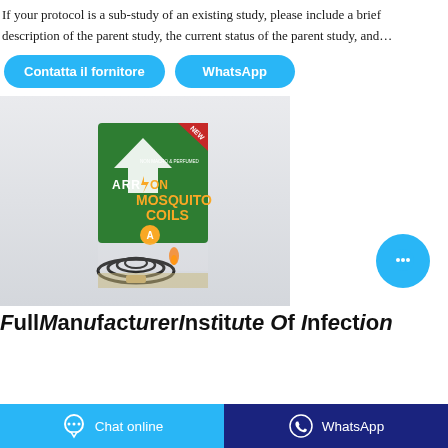If your protocol is a sub-study of an existing study, please include a brief description of the parent study, the current status of the parent study, and…
Contatta il fornitore | WhatsApp (buttons)
[Figure (photo): Product photo of Arrow Mosquito Coils box with a mosquito coil in front on a grey background. Green packaging with yellow text reading MOSQUITO COILS and the Arrow brand logo.]
Full Manufacturer Institute Of Infection... (partial, cut off)
Chat online | WhatsApp (bottom buttons)